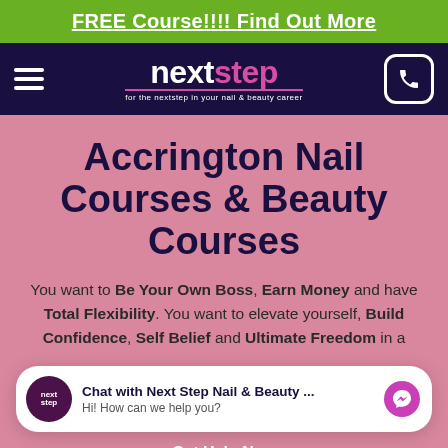FREE Course!!!! Find Out More
[Figure (logo): Next Step nail & beauty career logo with navigation bar on dark navy background]
Accrington Nail Courses & Beauty Courses
You want to Be Your Own Boss, Earn Money and have Total Flexibility. You want to elevate yourself, Build Confidence, Self Belief and Ultimate Freedom in a
[Figure (screenshot): Chat popup: Chat with Next Step Nail & Beauty ... Hi! How can we help you? with messenger icon]
Get Help Now
T